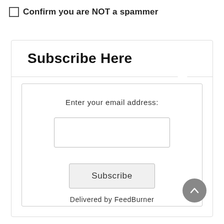Confirm you are NOT a spammer
Subscribe Here
Enter your email address:
Subscribe
Delivered by FeedBurner